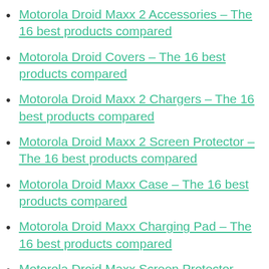Motorola Droid Maxx 2 Accessories – The 16 best products compared
Motorola Droid Covers – The 16 best products compared
Motorola Droid Maxx 2 Chargers – The 16 best products compared
Motorola Droid Maxx 2 Screen Protector – The 16 best products compared
Motorola Droid Maxx Case – The 16 best products compared
Motorola Droid Maxx Charging Pad – The 16 best products compared
Motorola Droid Maxx Screen Protector –